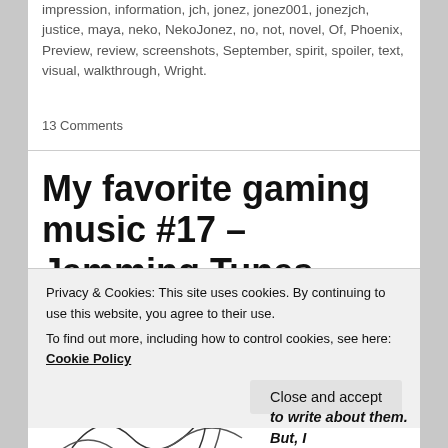impression, information, jch, jonez, jonez001, jonezjch, justice, maya, neko, NekoJonez, no, not, novel, Of, Phoenix, Preview, review, screenshots, September, spirit, spoiler, text, visual, walkthrough, Wright.
13 Comments
My favorite gaming music #17 – Jamming Tunes
[Figure (illustration): Partial pixel-art style image showing a checkered/mosaic pattern with line art, partially visible at bottom of page]
My previous lists
Privacy & Cookies: This site uses cookies. By continuing to use this website, you agree to their use.
To find out more, including how to control cookies, see here: Cookie Policy
Close and accept
to write about them. But, I